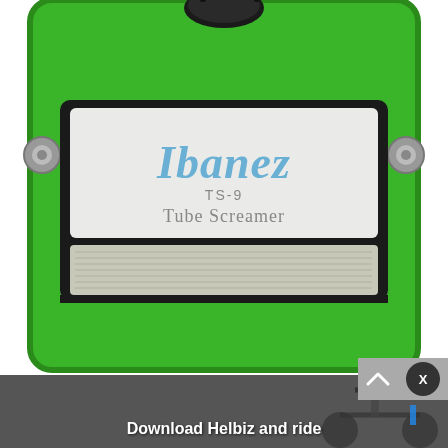[Figure (photo): Ibanez TS-9 Tube Screamer guitar effects pedal in green color, top-down view showing the brand label panel and metal footswitch panel. The pedal has a black knob at the top, metal jack connectors on the sides, and a white/silver label area displaying 'Ibanez' in blue italic font, 'TS-9' and 'Tube Screamer' text.]
[Figure (photo): Advertisement overlay banner showing a scooter/e-scooter in an urban setting with text 'Download Helbiz and ride'. Contains an ad indicator icon and an X close button in top right.]